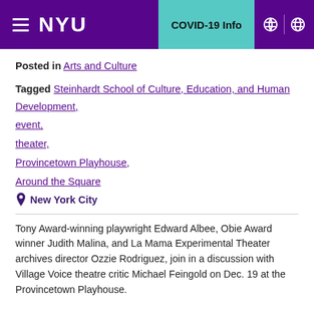NYU | COVID-19 Info
Posted in Arts and Culture
Tagged Steinhardt School of Culture, Education, and Human Development, event, theater, Provincetown Playhouse, Around the Square
📍 New York City
Tony Award-winning playwright Edward Albee, Obie Award winner Judith Malina, and La Mama Experimental Theater archives director Ozzie Rodriguez, join in a discussion with Village Voice theatre critic Michael Feingold on Dec. 19 at the Provincetown Playhouse.